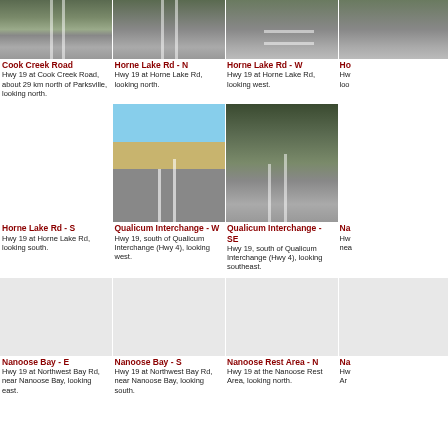[Figure (photo): Traffic camera: Cook Creek Road - Hwy 19 looking north]
Cook Creek Road
Hwy 19 at Cook Creek Road, about 29 km north of Parksville, looking north.
[Figure (photo): Traffic camera: Horne Lake Rd - N - Hwy 19 looking north]
Horne Lake Rd - N
Hwy 19 at Horne Lake Rd, looking north.
[Figure (photo): Traffic camera: Horne Lake Rd - W - Hwy 19 looking west]
Horne Lake Rd - W
Hwy 19 at Horne Lake Rd, looking west.
Ho
Hw
loo
Horne Lake Rd - S
Hwy 19 at Horne Lake Rd, looking south.
[Figure (photo): Traffic camera: Qualicum Interchange - W - Hwy 19 south of Qualicum Interchange looking west]
Qualicum Interchange - W
Hwy 19, south of Qualicum Interchange (Hwy 4), looking west.
[Figure (photo): Traffic camera: Qualicum Interchange - SE - Hwy 19 south of Qualicum Interchange looking southeast]
Qualicum Interchange - SE
Hwy 19, south of Qualicum Interchange (Hwy 4), looking southeast.
Na
Hw
nea
Nanoose Bay - E
Hwy 19 at Northwest Bay Rd, near Nanoose Bay, looking east.
Nanoose Bay - S
Hwy 19 at Northwest Bay Rd, near Nanoose Bay, looking south.
Nanoose Rest Area - N
Hwy 19 at the Nanoose Rest Area, looking north.
Na
Hw
Ar